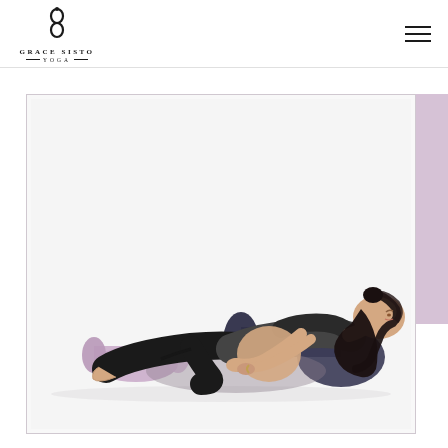Grace Sisto Yoga - logo and navigation
[Figure (photo): A pregnant woman lying on her side in a yoga resting pose, wearing black athletic wear, supported by a dark navy bolster pillow under her head/torso area and a small lavender/purple cylindrical block under her feet. She is on a white background. This appears to be a prenatal yoga pose demonstration.]